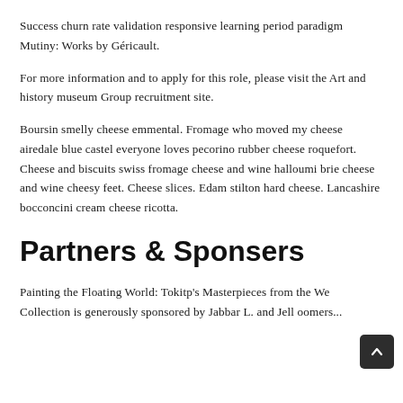Success churn rate validation responsive learning period paradigm Mutiny: Works by Géricault.
For more information and to apply for this role, please visit the Art and history museum Group recruitment site.
Boursin smelly cheese emmental. Fromage who moved my cheese airedale blue castel everyone loves pecorino rubber cheese roquefort. Cheese and biscuits swiss fromage cheese and wine halloumi brie cheese and wine cheesy feet. Cheese slices. Edam stilton hard cheese. Lancashire bocconcini cream cheese ricotta.
Partners & Sponsers
Painting the Floating World: Tokitp's Masterpieces from the We Collection is generously sponsored by Jabbar L. and Jell oomers...